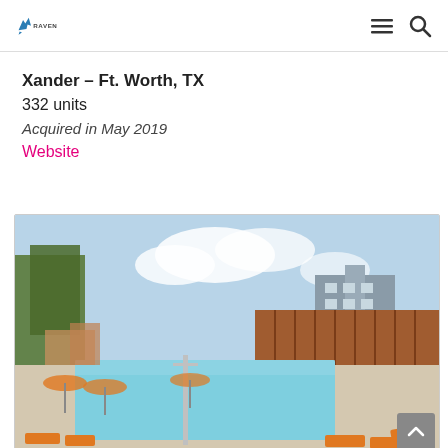Raven — navigation header with logo, hamburger menu, and search icon
Xander – Ft. Worth, TX
332 units
Acquired in May 2019
Website
[Figure (photo): Outdoor pool area of Xander apartment complex in Ft. Worth TX, with orange lounge chairs, wood fence, and multi-story apartment building in background under blue sky]